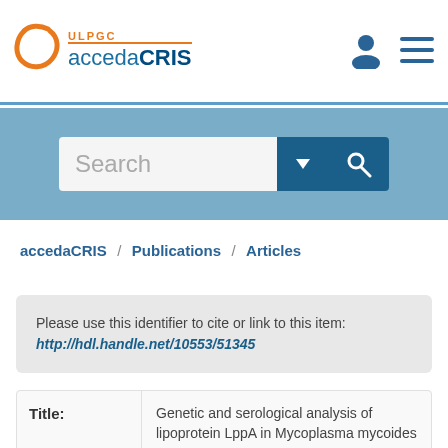[Figure (logo): accedaCRIS logo with ULPGC branding — orange spiral icon and ULPGC text, with 'acceda' in blue and 'CRIS' in dark blue bold]
accedaCRIS / Publications / Articles
Please use this identifier to cite or link to this item: http://hdl.handle.net/10553/51345
Title: Genetic and serological analysis of lipoprotein LppA in Mycoplasma mycoides subsp. mycoides LC and